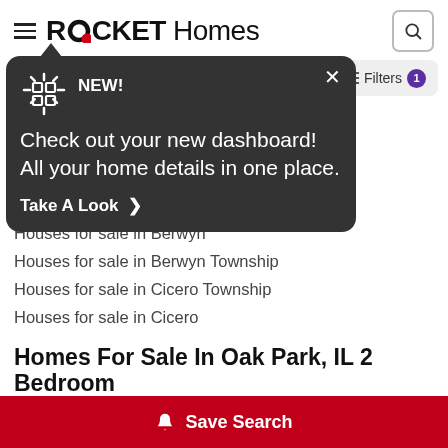ROCKET Homes
[Figure (screenshot): Tooltip popup with dark background showing 'NEW! Check out your new dashboard! All your home details in one place. Take A Look >']
Houses for sale in River Forest
Houses for sale in River Forest Township
Houses for sale in Oak Park
Houses for sale in Chicago
Houses for sale in Elmwood Park
Houses for sale in Berwyn
Houses for sale in Berwyn Township
Houses for sale in Cicero Township
Houses for sale in Cicero
Homes For Sale In Oak Park, IL 2 Bedroom
Ho...
Save Search